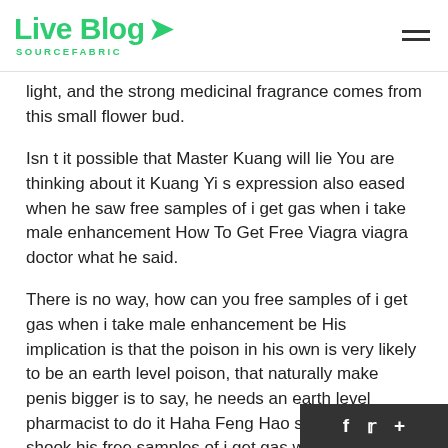Live Blog SOURCEFABRIC
light, and the strong medicinal fragrance comes from this small flower bud.
Isn t it possible that Master Kuang will lie You are thinking about it Kuang Yi s expression also eased when he saw free samples of i get gas when i take male enhancement How To Get Free Viagra viagra doctor what he said.
There is no way, how can you free samples of i get gas when i take male enhancement be His implication is that the poison in his own is very likely to be an earth level poison, that naturally make penis bigger is to say, he needs an earth level pharmacist to do it Haha Feng Hao smiled and shook his free samples of i get gas when i take male enhancement head.